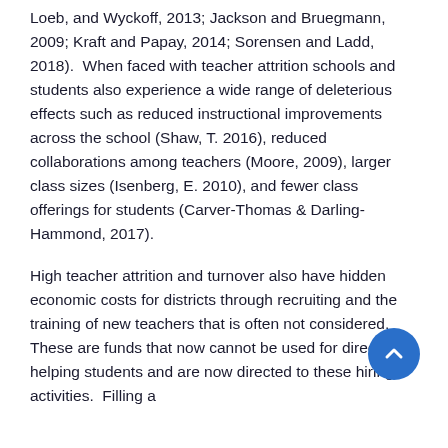Loeb, and Wyckoff, 2013; Jackson and Bruegmann, 2009; Kraft and Papay, 2014; Sorensen and Ladd, 2018).  When faced with teacher attrition schools and students also experience a wide range of deleterious effects such as reduced instructional improvements across the school (Shaw, T. 2016), reduced collaborations among teachers (Moore, 2009), larger class sizes (Isenberg, E. 2010), and fewer class offerings for students (Carver-Thomas & Darling-Hammond, 2017).
High teacher attrition and turnover also have hidden economic costs for districts through recruiting and the training of new teachers that is often not considered.  These are funds that now cannot be used for directly helping students and are now directed to these hiring activities.  Filling a